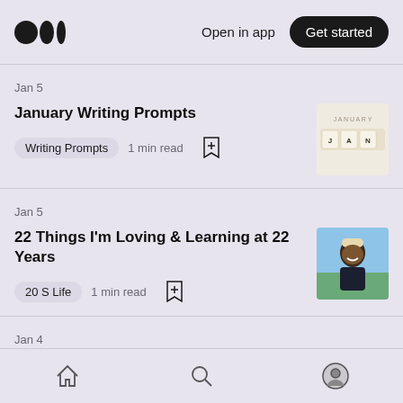Medium logo | Open in app | Get started
Jan 5
January Writing Prompts
Writing Prompts  1 min read
[Figure (photo): Scrabble tiles spelling JANUARY on a white background]
Jan 5
22 Things I'm Loving & Learning at 22 Years
20 S Life  1 min read
[Figure (photo): Portrait photo of a smiling person wearing a winter hat and dark jacket outdoors]
Jan 4